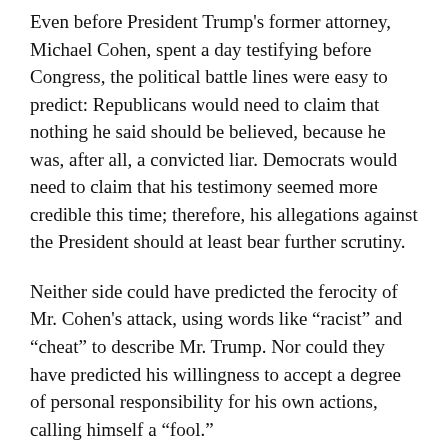Even before President Trump's former attorney, Michael Cohen, spent a day testifying before Congress, the political battle lines were easy to predict: Republicans would need to claim that nothing he said should be believed, because he was, after all, a convicted liar. Democrats would need to claim that his testimony seemed more credible this time; therefore, his allegations against the President should at least bear further scrutiny.
Neither side could have predicted the ferocity of Mr. Cohen's attack, using words like “racist” and “cheat” to describe Mr. Trump. Nor could they have predicted his willingness to accept a degree of personal responsibility for his own actions, calling himself a “fool.”
Spirited Reasoners should note, however, that the crucial take-home message lay not in anything Mr. Cohen said, but rather in the fact that he served as an important legal advisor for Mr.